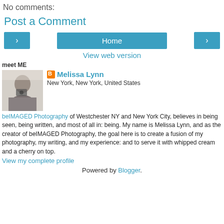No comments:
Post a Comment
[Figure (other): Navigation bar with left arrow button, Home button, and right arrow button]
View web version
meet ME
[Figure (photo): Profile photo of Melissa Lynn holding a camera]
Melissa Lynn
New York, New York, United States
beIMAGED Photography of Westchester NY and New York City, believes in being seen, being written, and most of all in: being. My name is Melissa Lynn, and as the creator of beIMAGED Photography, the goal here is to create a fusion of my photography, my writing, and my experience: and to serve it with whipped cream and a cherry on top.
View my complete profile
Powered by Blogger.